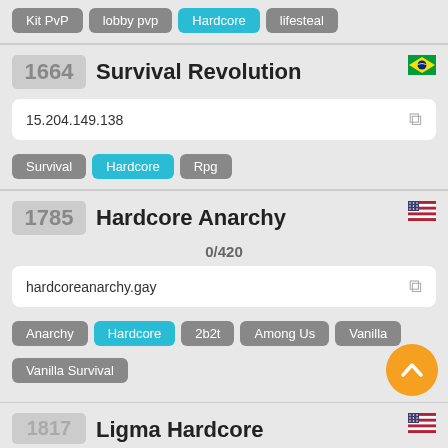Kit PvP, lobby pvp, Hardcore (active), lifesteal
1664 Survival Revolution
15.204.149.138
Survival, Hardcore (active), Rpg
1785 Hardcore Anarchy
0/420
hardcoreanarchy.gay
Anarchy, Hardcore (active), 2b2t, Among Us, Vanilla, Vanilla Survival
1817 Ligma Hardcore